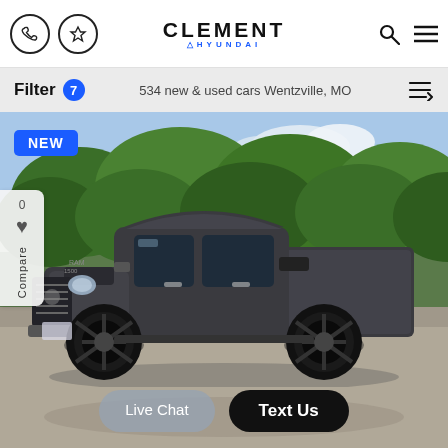Clement Hyundai — 534 new & used cars Wentzville, MO
Filter 7 — 534 new & used cars Wentzville, MO
[Figure (photo): Dark grey Ram 1500 pickup truck with lifted suspension and black aftermarket wheels, parked on pavement in front of green trees. 'NEW' badge in upper left corner. Side panel shows '0' count and heart/compare icons. Live Chat and Text Us buttons at bottom.]